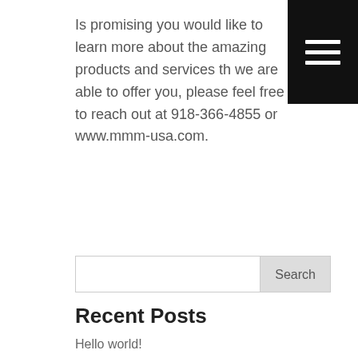Is promising you would like to learn more about the amazing products and services that we are able to offer you, please feel free to reach out at 918-366-4855 or www.mmm-usa.com.
[Figure (other): Hamburger menu icon — three horizontal white lines on black background]
Search
Recent Posts
Hello world!
Recent Comments
Mr WordPress on Hello world!